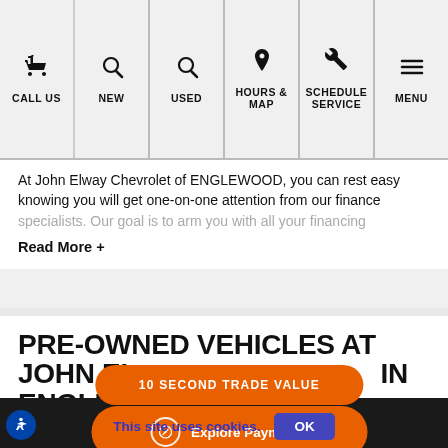CALL US | NEW | USED | HOURS & MAP | SCHEDULE SERVICE | MENU
At John Elway Chevrolet of ENGLEWOOD, you can rest easy knowing you will get one-on-one attention from our finance specialists. Our goal is to arm you with all your financing
Read More +
PRE-OWNED VEHICLES AT JOHN ELWAY CHEVROLET IN ENGLEWOOD
If you are looking for a used car in Denver, Littleton, Highlands Ranch, look no further than John El...
[Figure (other): Orange rounded button overlay reading '10 SECOND TRADE VALUE']
[Figure (other): Orange rounded button with compass icon reading 'Explore Payments']
This site uses cookies.
OK